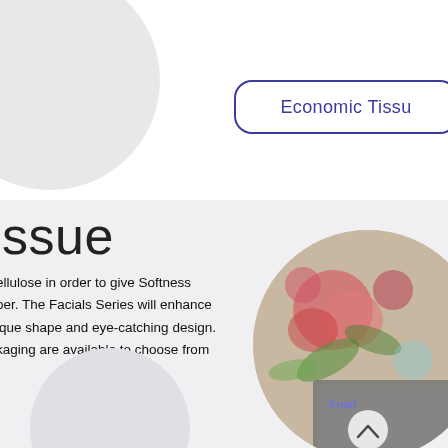Economic Tissue
tissue
ellulose in order to give Softness oer. The Facials Series will enhance ique shape and eye-catching design. kaging are available to choose from
[Figure (photo): Product photo showing floral tissue box packaging with roses design, partial circular crop on right side. Small inset image with Snail brand logo and navigation arrow button.]